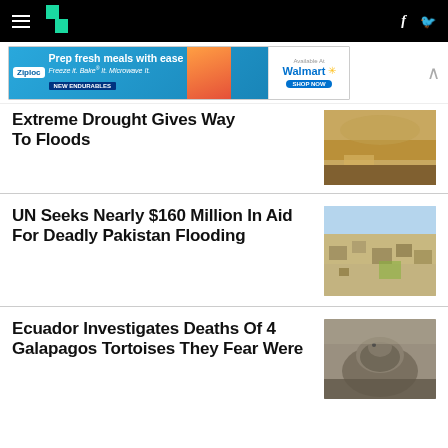HuffPost navigation bar with hamburger menu, logo, Facebook and Twitter icons
[Figure (other): Ziploc advertisement banner - Prep fresh meals with ease, Freeze it. Bake it. Microwave it. New Endurables. Available at Walmart.]
Extreme Drought Gives Way To Floods
[Figure (photo): Aerial view of drought/flood landscape with cracked earth and water]
UN Seeks Nearly $160 Million In Aid For Deadly Pakistan Flooding
[Figure (photo): Aerial view of flooded neighborhood in Pakistan with buildings surrounded by water]
Ecuador Investigates Deaths Of 4 Galapagos Tortoises They Fear Were
[Figure (photo): Close-up photo of a Galapagos tortoise]